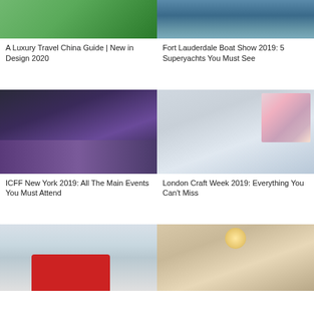[Figure (photo): Aerial view of a circular green island or garden structure surrounded by water]
A Luxury Travel China Guide | New in Design 2020
[Figure (photo): View of open water, ocean or harbor, shot from a boat — Fort Lauderdale Boat Show]
Fort Lauderdale Boat Show 2019: 5 Superyachts You Must See
[Figure (photo): Interior of ICFF expo hall with purple carpet and hanging lights, people browsing exhibits]
ICFF New York 2019: All The Main Events You Must Attend
[Figure (photo): Decorative floral-pattern cabinet or wardrobe displayed in a room — London Craft Week]
London Craft Week 2019: Everything You Can't Miss
[Figure (photo): Red sculptural art installation outdoors in snowy urban setting]
[Figure (photo): Elegant hotel or residential hallway with large round chandelier pendant lights]